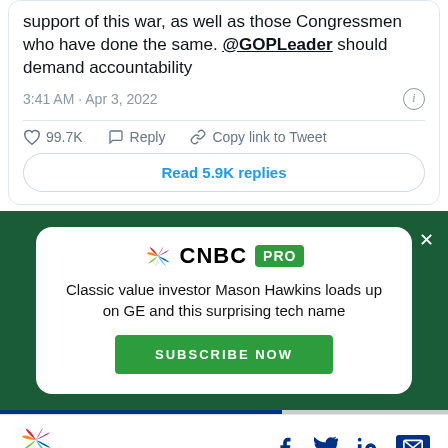support of this war, as well as those Congressmen who have done the same. @GOPLeader should demand accountability
3:41 AM · Apr 3, 2022
99.7K  Reply  Copy link to Tweet
Read 5.9K replies
[Figure (screenshot): CNBC PRO advertisement banner with white card on dark green background. Shows CNBC PRO logo, tagline about Mason Hawkins and GE, and Subscribe Now button.]
[Figure (logo): CNBC peacock logo with CNBC text and social media icons (Facebook, Twitter, LinkedIn, Email) in footer bar]